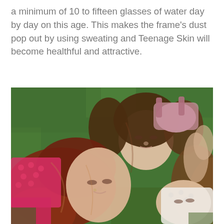a minimum of 10 to fifteen glasses of water day by day on this age. This makes the frame's dust pop out by using sweating and Teenage Skin will become healthful and attractive.
[Figure (photo): Three teenage girls lying on grass with their heads together, eyes closed, smiling. One wears a pink crochet top, one wears a pink bra-top, and one wears a white lace top. Their hair fans out around them on the green grass.]